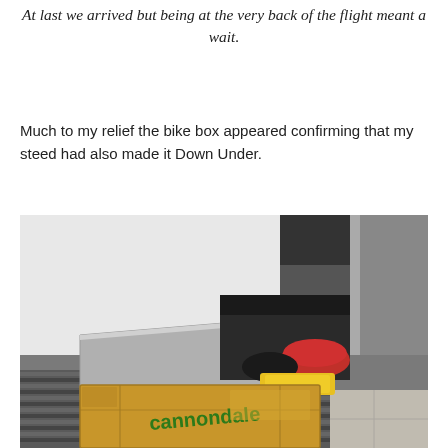At last we arrived but being at the very back of the flight meant a wait.
Much to my relief the bike box appeared confirming that my steed had also made it Down Under.
[Figure (photo): Photo of a baggage carousel at an airport with a large Cannondale bike box on the conveyor belt, along with other luggage including a red bag and a yellow item.]